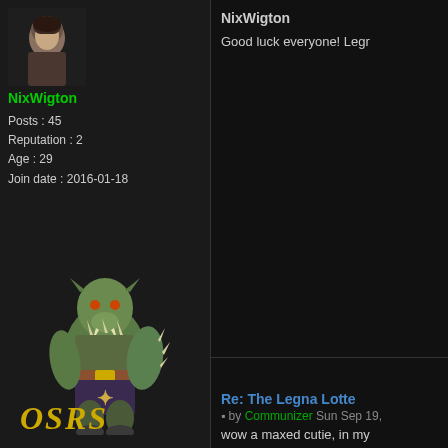[Figure (photo): User avatar - dark female character portrait]
NixWigton
Posts : 45
Reputation : 2
Age : 29
Join date : 2016-01-18
[Figure (illustration): 3D rendered green orc/goblin character with spiked armor and dark clothing with a rune symbol]
[Figure (logo): OSRS logo in yellow italic bold text]
NixWigton
Good luck everyone! Legr
Re: The Legna Lotte
by Communizer Sun Sep 19,
wow a maxed cutie, in my